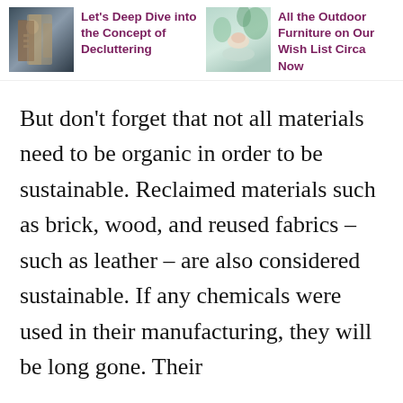[Figure (photo): Thumbnail image of a person near shelves or closet, related to decluttering]
Let's Deep Dive into the Concept of Decluttering
[Figure (photo): Thumbnail image of a person relaxing outdoors near plants, related to outdoor furniture]
All the Outdoor Furniture on Our Wish List Circa Now
But don't forget that not all materials need to be organic in order to be sustainable. Reclaimed materials such as brick, wood, and reused fabrics – such as leather – are also considered sustainable. If any chemicals were used in their manufacturing, they will be long gone. Their